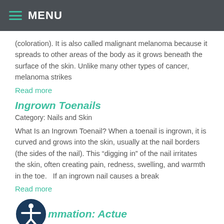MENU
(coloration). It is also called malignant melanoma because it spreads to other areas of the body as it grows beneath the surface of the skin. Unlike many other types of cancer, melanoma strikes
Read more
Ingrown Toenails
Category: Nails and Skin
What Is an Ingrown Toenail? When a toenail is ingrown, it is curved and grows into the skin, usually at the nail borders (the sides of the nail). This “digging in” of the nail irritates the skin, often creating pain, redness, swelling, and warmth in the toe.  If an ingrown nail causes a break
Read more
mmation: Actue
Category: Nails and Skin